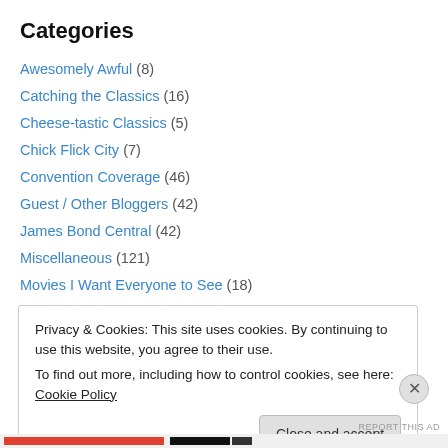Categories
Awesomely Awful (8)
Catching the Classics (16)
Cheese-tastic Classics (5)
Chick Flick City (7)
Convention Coverage (46)
Guest / Other Bloggers (42)
James Bond Central (42)
Miscellaneous (121)
Movies I Want Everyone to See (18)
Movies That Everyone Should See (84)
Now Showing on Cable (70)
Privacy & Cookies: This site uses cookies. By continuing to use this website, you agree to their use. To find out more, including how to control cookies, see here: Cookie Policy
Close and accept